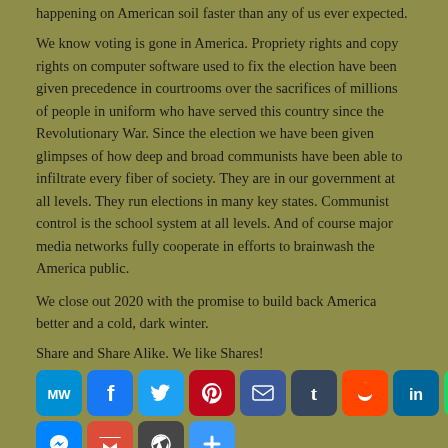happening on American soil faster than any of us ever expected.
We know voting is gone in America. Propriety rights and copy rights on computer software used to fix the election have been given precedence in courtrooms over the sacrifices of millions of people in uniform who have served this country since the Revolutionary War. Since the election we have been given glimpses of how deep and broad communists have been able to infiltrate every fiber of society. They are in our government at all levels. They run elections in many key states. Communist control is the school system at all levels. And of course major media networks fully cooperate in efforts to brainwash the America public.
We close out 2020 with the promise to build back America better and a cold, dark winter.
Share and Share Alike. We like Shares!
[Figure (infographic): Social media share buttons: MeWe, Facebook, Twitter, Pinterest, Email, Tumblr, Reddit, LinkedIn, WhatsApp, Blogger, Messenger, Gmail, WordPress, More]
Posted in Editorial · Tagged communist has businesses, left